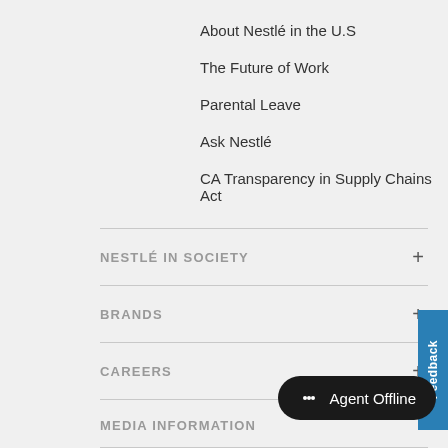About Nestlé in the U.S
The Future of Work
Parental Leave
Ask Nestlé
CA Transparency in Supply Chains Act
NESTLÉ IN SOCIETY
BRANDS
CAREERS
MEDIA INFORMATION